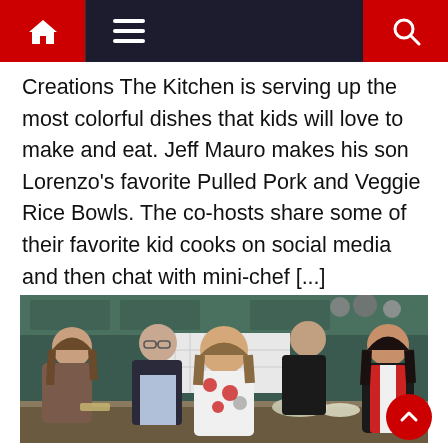Navigation bar with home, menu, and search icons
Creations The Kitchen is serving up the most colorful dishes that kids will love to make and eat. Jeff Mauro makes his son Lorenzo's favorite Pulled Pork and Veggie Rice Bowls. The co-hosts share some of their favorite kid cooks on social media and then chat with mini-chef [...]
[Figure (photo): Group photo of five TV show hosts standing together in a kitchen set. From left to right: a young woman with long brown hair wearing a floral top, an older man in a dark suit with glasses, a woman in the center wearing a floral white dress with red flowers, a man in black standing behind, and a dark-haired woman on the right in a red and white outfit.]